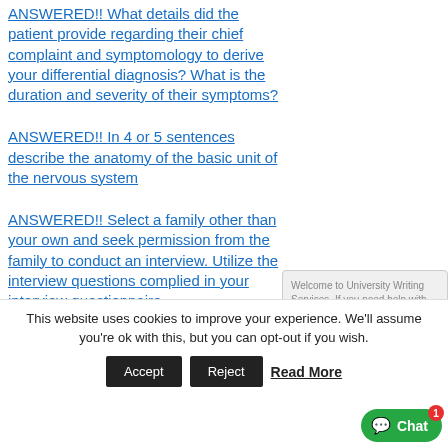ANSWERED!! What details did the patient provide regarding their chief complaint and symptomology to derive your differential diagnosis? What is the duration and severity of their symptoms?
ANSWERED!! In 4 or 5 sentences describe the anatomy of the basic unit of the nervous system
ANSWERED!! Select a family other than your own and seek permission from the family to conduct an interview. Utilize the interview questions complied in your interview questionnaire
Welcome to University Writing Services. If you need help with your assignment, we are online and ready to help.
This website uses cookies to improve your experience. We'll assume you're ok with this, but you can opt-out if you wish.
Accept  Reject  Read More  Chat 1